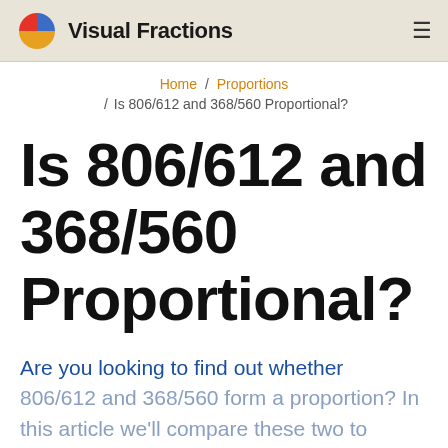Visual Fractions
Home / Proportions / Is 806/612 and 368/560 Proportional?
Is 806/612 and 368/560 Proportional?
Are you looking to find out whether 806/612 and 368/560 form a proportion? In this article we'll compare these two to